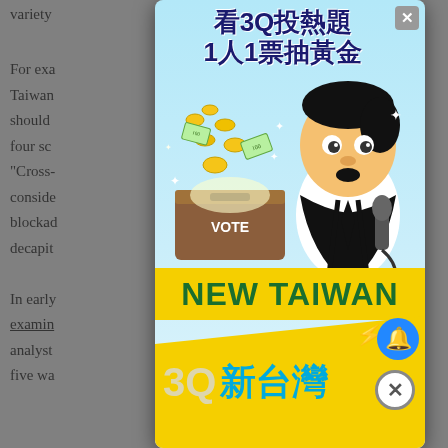variety
For exa... four Taiwan... should... he four sc... island: "Cross-... has conside... aval blockad... decapit...
[Figure (illustration): Popup advertisement for '3Q 新台灣' (3Q New Taiwan) political/voting campaign. Shows a cartoon character in a suit holding a microphone leaning over a ballot box labeled VOTE, with gold coins flying out. Text reads '看3Q投熱題 1人1票抽黃金' (Watch 3Q hot topics, 1 person 1 vote draw gold) and 'NEW TAIWAN' in large green letters on yellow banner, and '3Q新台灣' logo at the bottom. Has a close X button top right, a blue bell button, and a circle-X close button bottom right.]
In early... analyst examin... t 2049 analyst... five wa...
On 17 ... TBC)